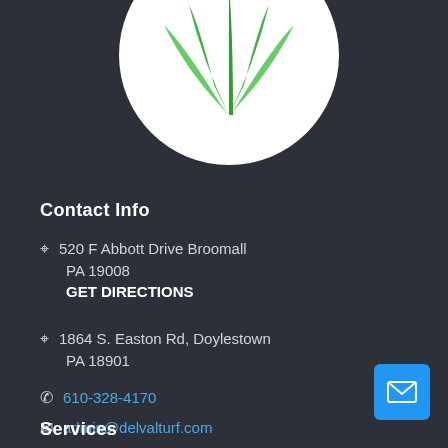[Figure (logo): Green grass/turf logo on white circle background]
Contact Info
520 F Abbott Drive Broomall
PA 19008
GET DIRECTIONS
1864 S. Easton Rd, Doylestown
PA 18901
610-328-4170
admin@delvalturf.com
Services